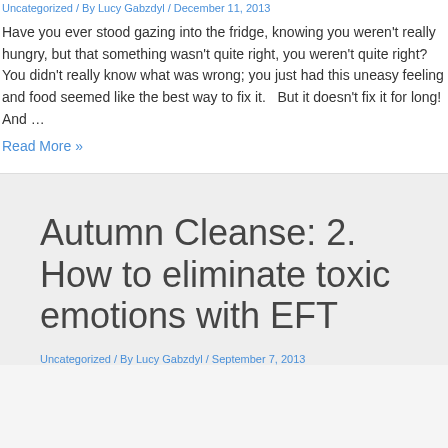Uncategorized / By Lucy Gabzdyl / December 11, 2013
Have you ever stood gazing into the fridge, knowing you weren't really hungry, but that something wasn't quite right, you weren't quite right? You didn't really know what was wrong; you just had this uneasy feeling and food seemed like the best way to fix it.   But it doesn't fix it for long! And …
Read More »
Autumn Cleanse: 2. How to eliminate toxic emotions with EFT
Uncategorized / By Lucy Gabzdyl / September 7, 2013